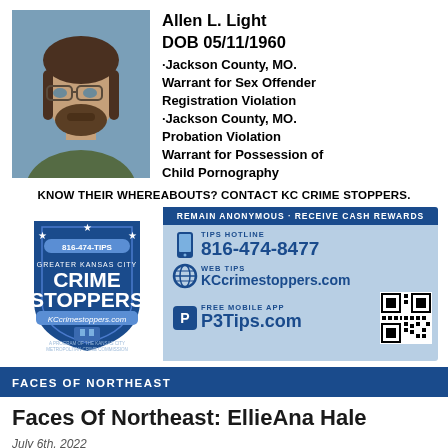[Figure (photo): Mugshot photo of Allen L. Light, a middle-aged white male with brown hair, beard, and glasses wearing an olive/green shirt, against a blue-gray background]
Allen L. Light
DOB 05/11/1960
·Jackson County, MO. Warrant for Sex Offender Registration Violation
·Jackson County, MO. Probation Violation Warrant for Possession of Child Pornography
KNOW THEIR WHEREABOUTS? CONTACT KC CRIME STOPPERS.
[Figure (logo): Greater Kansas City Crime Stoppers shield logo with 816-474-TIPS and KCcrimestoppers.com]
REMAIN ANONYMOUS · RECEIVE CASH REWARDS
TIPS HOTLINE
816-474-8477
WEB TIPS
KCcrimestoppers.com
FREE MOBILE APP
P3Tips.com
FACES OF NORTHEAST
Faces Of Northeast: EllieAna Hale
July 6th, 2022
by admin